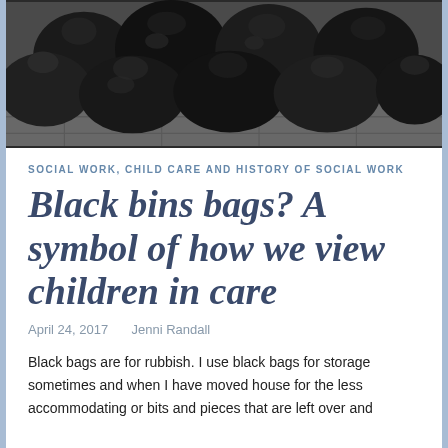[Figure (photo): Black bin bags / garbage bags piled up on a paved street surface, photographed from above at an angle.]
SOCIAL WORK, CHILD CARE AND HISTORY OF SOCIAL WORK
Black bins bags? A symbol of how we view children in care
April 24, 2017   Jenni Randall
Black bags are for rubbish. I use black bags for storage sometimes and when I have moved house for the less accommodating or bits and pieces that are left over and